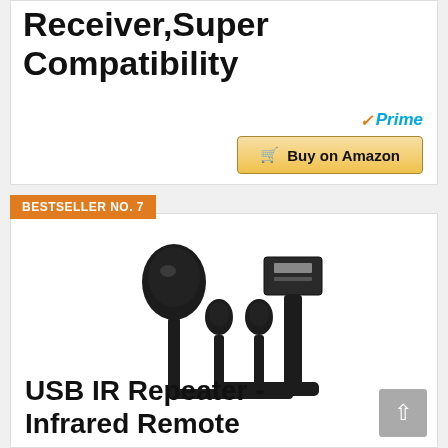Receiver,Super Compatibility
[Figure (other): Amazon Prime badge and Buy on Amazon button]
BESTSELLER NO. 7
[Figure (photo): USB IR Repeater product photo showing black IR receiver, two IR emitters, and USB connector with cables]
USB IR Repeater - Infrared Remote